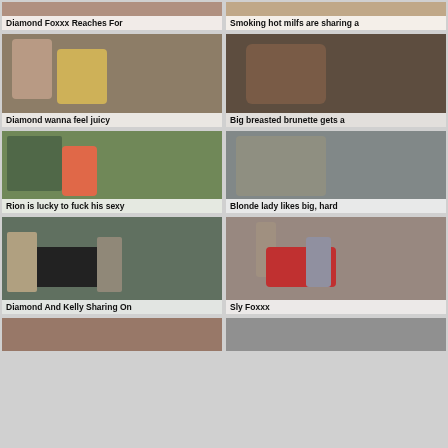[Figure (photo): Thumbnail 1 - Diamond Foxxx Reaches For]
Diamond Foxxx Reaches For
[Figure (photo): Thumbnail 2 - Smoking hot milfs are sharing a]
Smoking hot milfs are sharing a
[Figure (photo): Thumbnail 3 - Diamond wanna feel juicy]
Diamond wanna feel juicy
[Figure (photo): Thumbnail 4 - Big breasted brunette gets a]
Big breasted brunette gets a
[Figure (photo): Thumbnail 5 - Rion is lucky to fuck his sexy]
Rion is lucky to fuck his sexy
[Figure (photo): Thumbnail 6 - Blonde lady likes big, hard]
Blonde lady likes big, hard
[Figure (photo): Thumbnail 7 - Diamond And Kelly Sharing On]
Diamond And Kelly Sharing On
[Figure (photo): Thumbnail 8 - Sly Foxxx]
Sly Foxxx
[Figure (photo): Thumbnail 9 - partial view]
[Figure (photo): Thumbnail 10 - partial view]